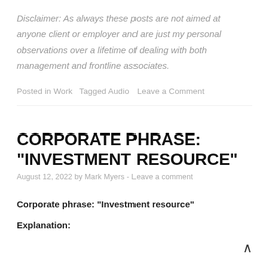Disclaimer: As always these posts are not aimed at anyone client or employer and are just my personal observations over a lifetime of dealing with both management and frontline associates.
Posted in Work  Tagged Audio  Leave a Comment
CORPORATE PHRASE: “INVESTMENT RESOURCE”
August 12, 2022 by Mark Myers - Leave a comment
Corporate phrase: “Investment resource”
Explanation: